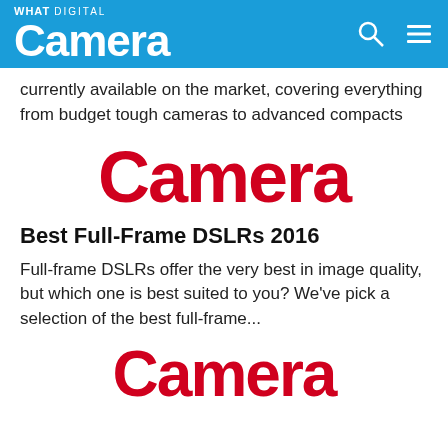WHAT DIGITAL Camera
currently available on the market, covering everything from budget tough cameras to advanced compacts
[Figure (logo): Large red 'Camera' logo text for What Digital Camera magazine]
Best Full-Frame DSLRs 2016
Full-frame DSLRs offer the very best in image quality, but which one is best suited to you? We've pick a selection of the best full-frame...
[Figure (logo): Large red 'Camera' logo text for What Digital Camera magazine (second instance)]